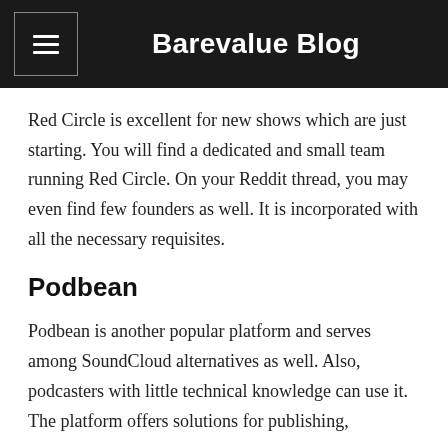Barevalue Blog
Red Circle is excellent for new shows which are just starting. You will find a dedicated and small team running Red Circle. On your Reddit thread, you may even find few founders as well. It is incorporated with all the necessary requisites.
Podbean
Podbean is another popular platform and serves among SoundCloud alternatives as well. Also, podcasters with little technical knowledge can use it. The platform offers solutions for publishing,